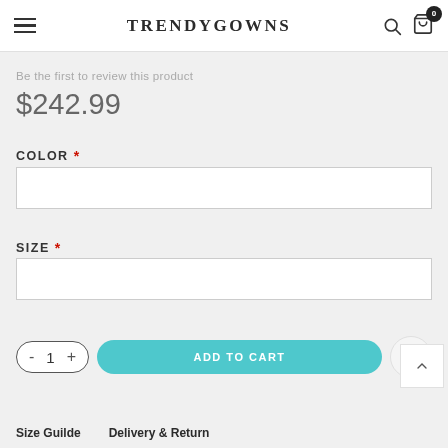TRENDYGOWNS
Be the first to review this product
$242.99
COLOR *
SIZE *
- 1 + ADD TO CART
Size Guilde   Delivery & Return